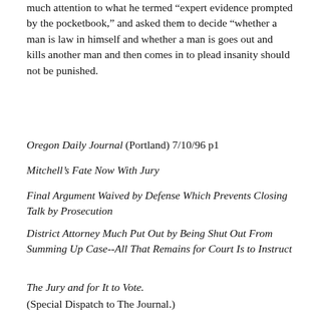much attention to what he termed "expert evidence prompted by the pocketbook," and asked them to decide "whether a man is law in himself and whether a man is goes out and kills another man and then comes in to plead insanity should not be punished.
Oregon Daily Journal (Portland) 7/10/96 p1
Mitchell's Fate Now With Jury
Final Argument Waived by Defense Which Prevents Closing Talk by Prosecution
District Attorney Much Put Out by Being Shut Out From Summing Up Case--All That Remains for Court Is to Instruct
The Jury and for It to Vote.
(Special Dispatch to The Journal.)